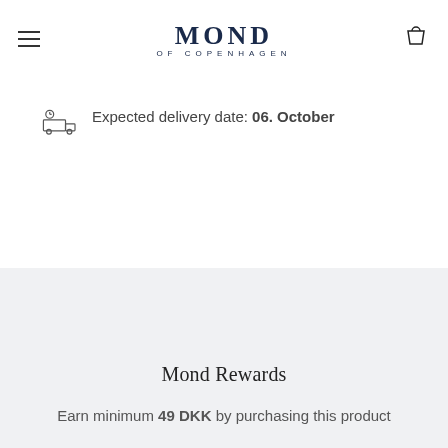MOND OF COPENHAGEN
Expected delivery date: 06. October
Mond Rewards
Earn minimum 49 DKK by purchasing this product